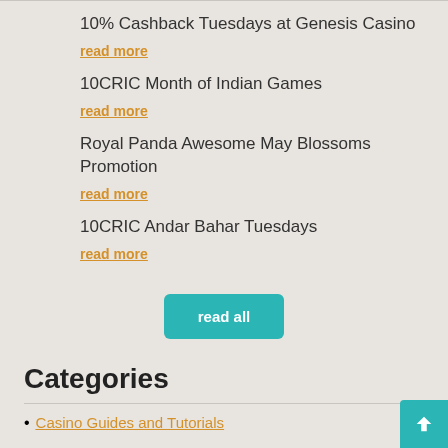10% Cashback Tuesdays at Genesis Casino
read more
10CRIC Month of Indian Games
read more
Royal Panda Awesome May Blossoms Promotion
read more
10CRIC Andar Bahar Tuesdays
read more
read all
Categories
Casino Guides and Tutorials